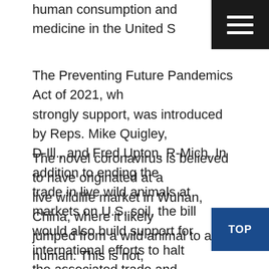human consumption and medicine in the United States.
The Preventing Future Pandemics Act of 2021, which we strongly support, was introduced by Reps. Mike Quigley, D-Ill., and Fred Upton, R-Mich. In addition to ending the trade in live wild animals at markets on U.S. soil, the bill would also build support for international efforts to halt the associated trade and trafficking of wild animals around the world.
The novel coronavirus is believed to have originated at a live wildlife market in Wuhan, China, where it likely jumped from a wild animal to a human. This is not, however, the only instance of a deadly disease emerging from our use and consumption of live wildlife. Severe Acute Respiratory Syndrome (SARS), bird flu and Ebola, among other diseases, have all been traced to the wildlife trade, spurring calls from global health officials to eliminate these breeding grounds of cruelty and disease.